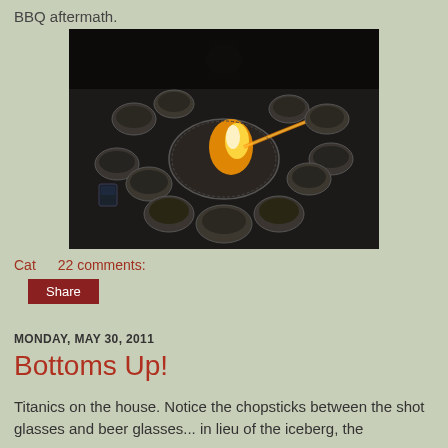BBQ aftermath.
[Figure (photo): Dark photo of a Korean BBQ table with many small ceramic bowls surrounding a central round charcoal grill with a flame burning in the center]
Cat    22 comments:
Share
MONDAY, MAY 30, 2011
Bottoms Up!
Titanics on the house. Notice the chopsticks between the shot glasses and beer glasses... in lieu of the iceberg, the